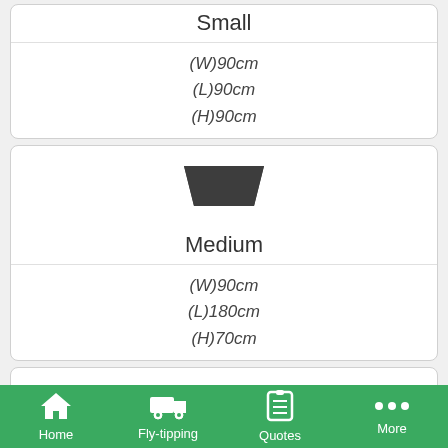Small
(W)90cm
(L)90cm
(H)90cm
[Figure (illustration): Skip/bin icon (trapezoidal shape) for Medium size]
Medium
(W)90cm
(L)180cm
(H)70cm
[Figure (illustration): Skip/bin icon (trapezoidal shape) for Large size]
Large
(W)165cm
(L)210cm
(H)100cm
Home  Fly-tipping  Quotes  More